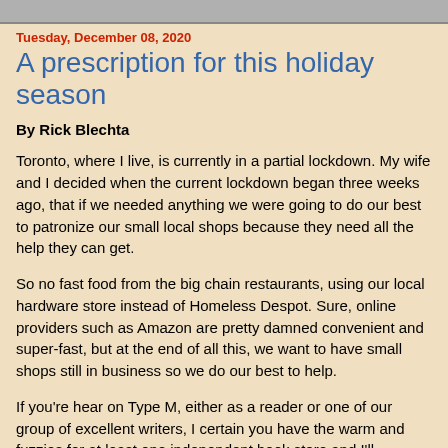Tuesday, December 08, 2020
A prescription for this holiday season
By Rick Blechta
Toronto, where I live, is currently in a partial lockdown. My wife and I decided when the current lockdown began three weeks ago, that if we needed anything we were going to do our best to patronize our small local shops because they need all the help they can get.
So no fast food from the big chain restaurants, using our local hardware store instead of Homeless Despot. Sure, online providers such as Amazon are pretty damned convenient and super-fast, but at the end of all this, we want to have small shops still in business so we do our best to help.
If you're hear on Type M, either as a reader or one of our group of excellent writers, I certain you have the warm and fuzzies for at least one independent book store and I'll